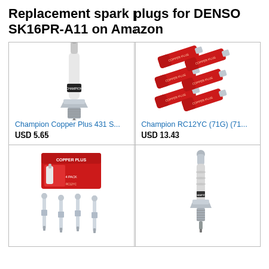Replacement spark plugs for DENSO SK16PR-A11 on Amazon
[Figure (photo): Champion Copper Plus single spark plug, silver/chrome body with white ceramic insulator and Champion branding band]
Champion Copper Plus 431 S...
USD 5.65
[Figure (photo): Champion RC12YC (71G) spark plugs, six plugs shown fanned out in red packaging]
Champion RC12YC (71G) (71...
USD 13.43
[Figure (photo): Champion Copper Plus spark plugs, four plugs laid out with red box packaging]
[Figure (photo): Champion single spark plug, silver/chrome body with ceramic insulator, upright view]